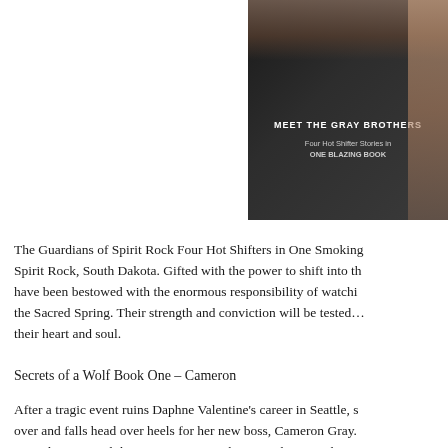[Figure (photo): Book cover showing muscular figures with text 'MEET THE GRAY BROTHERS Four Hot Shifter Stories in ONE BLAZING BOOK']
The Guardians of Spirit Rock Four Hot Shifters in One Smoking... Spirit Rock, South Dakota. Gifted with the power to shift into th... have been bestowed with the enormous responsibility of watchi... the Sacred Spring. Their strength and conviction will be tested.... their heart and soul.
Secrets of a Wolf Book One – Cameron
After a tragic event ruins Daphne Valentine's career in Seattle, s... over and falls head over heels for her new boss, Cameron Gray.... struggle to control the passion growing between them. Harborin... relationship, and both Daphne and Cameron have them. Will the... enough to hold them together or drive them apart forever?